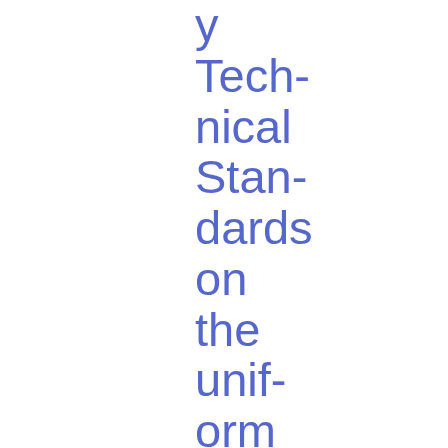y Technical Standards on the uniform conditions of application of the calculation methods under